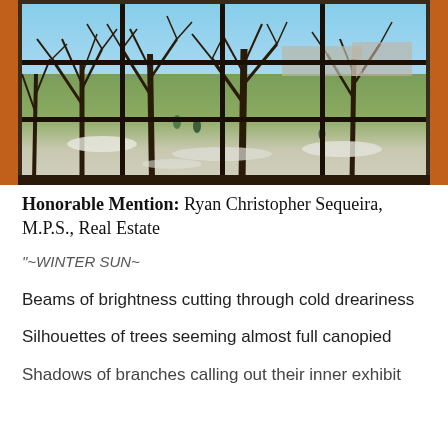[Figure (photo): A photograph taken from inside a building looking out through a large multi-pane window. The window has dark wooden frames with a grid of panes (4 columns x 3 rows visible). Outside, bare winter trees are silhouetted against a bright blue sky. Snow patches and grass are visible on the ground below. People are walking in the background. The interior walls are orange/terracotta colored.]
Honorable Mention: Ryan Christopher Sequeira, M.P.S., Real Estate
"~WINTER SUN~
Beams of brightness cutting through cold dreariness
Silhouettes of trees seeming almost full canopied
Shadows of branches calling out their inner exhibit